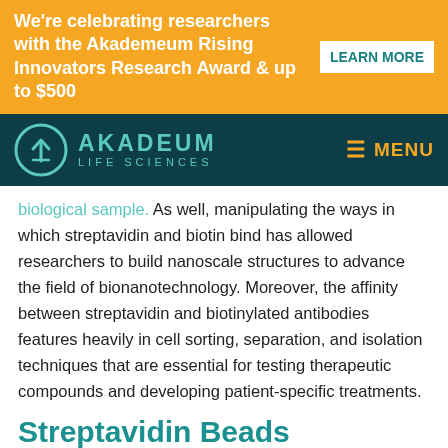We're celebrating researchers with the Akadem Rising Innovators Research Award & up to $500  LEARN MORE
[Figure (logo): Akademum Life Sciences logo with teal circle arrow icon and teal text on dark teal background, with orange MENU button]
biological sample. As well, manipulating the ways in which streptavidin and biotin bind has allowed researchers to build nanoscale structures to advance the field of bionanotechnology. Moreover, the affinity between streptavidin and biotinylated antibodies features heavily in cell sorting, separation, and isolation techniques that are essential for testing therapeutic compounds and developing patient-specific treatments.
Streptavidin Beads Protocols
Due to the prevalence of biotin in organic processes,